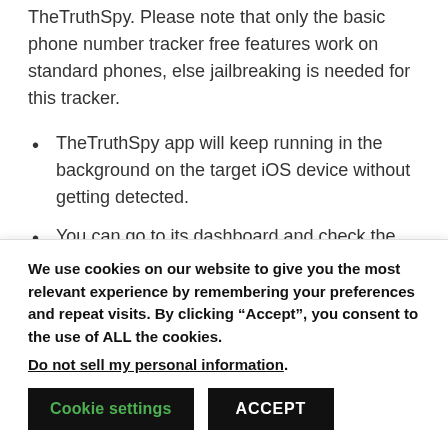TheTruthSpy. Please note that only the basic phone number tracker free features work on standard phones, else jailbreaking is needed for this tracker.
TheTruthSpy app will keep running in the background on the target iOS device without getting detected.
You can go to its dashboard and check the live location of their iPhone remotely.
It also records the location history with...
We use cookies on our website to give you the most relevant experience by remembering your preferences and repeat visits. By clicking “Accept”, you consent to the use of ALL the cookies.
Do not sell my personal information.